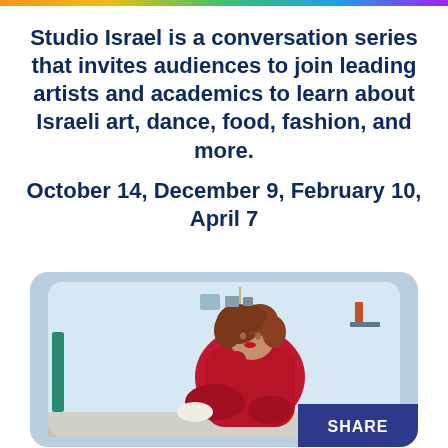Studio Israel is a conversation series that invites audiences to join leading artists and academics to learn about Israeli art, dance, food, fashion, and more.
October 14, December 9, February 10, April 7
[Figure (photo): A woman with curly red-brown hair wearing a red outfit, sitting in a rounded square room-like frame with light blue walls, a chandelier, and various items on shelves. A SHARE button appears in the bottom right corner.]